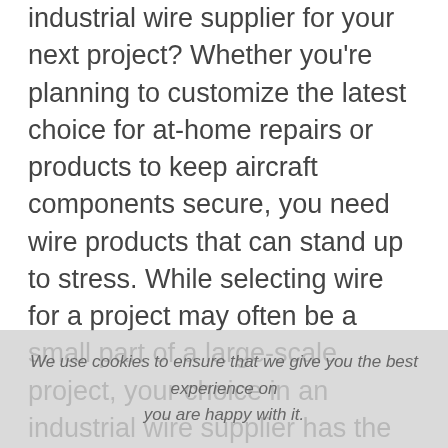industrial wire supplier for your next project? Whether you're planning to customize the latest choice for at-home repairs or products to keep aircraft components secure, you need wire products that can stand up to stress. While selecting wire for a project may often be a small part of a large-scale project, your choice in an industrial wire supplier has the potential to make or break the results of your project.

Researching and comparing stainless steel wire suppliers can seem overwhelming, but when you know what makes a reliable collaborator, you can streamline the customization process and maximize your return on investment. There are a variety of factors you and your team should consider as you compare potential
We use cookies to ensure that we give you the best experience on you are happy with it.